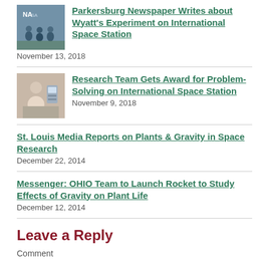[Figure (photo): NASA group photo with people outdoors]
Parkersburg Newspaper Writes about Wyatt's Experiment on International Space Station
November 13, 2018
[Figure (photo): Person at laboratory equipment]
Research Team Gets Award for Problem-Solving on International Space Station
November 9, 2018
St. Louis Media Reports on Plants & Gravity in Space Research
December 22, 2014
Messenger: OHIO Team to Launch Rocket to Study Effects of Gravity on Plant Life
December 12, 2014
Leave a Reply
Comment